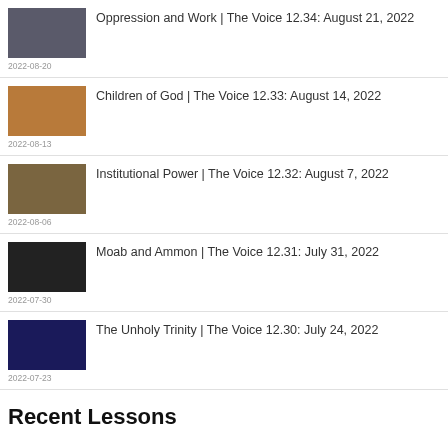Oppression and Work | The Voice 12.34: August 21, 2022 — 2022-08-20
Children of God | The Voice 12.33: August 14, 2022 — 2022-08-13
Institutional Power | The Voice 12.32: August 7, 2022 — 2022-08-06
Moab and Ammon | The Voice 12.31: July 31, 2022 — 2022-07-30
The Unholy Trinity | The Voice 12.30: July 24, 2022 — 2022-07-23
Recent Lessons